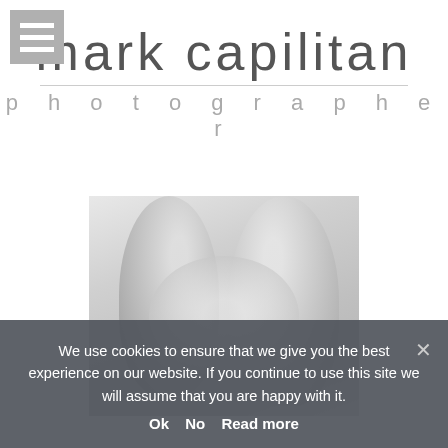[Figure (logo): Menu/hamburger icon — three white horizontal bars on gray background]
mark capilitan
photographer
[Figure (photo): Black and white photograph of a person or persons, close-up torso view, grayscale]
We use cookies to ensure that we give you the best experience on our website. If you continue to use this site we will assume that you are happy with it.
Ok  No  Read more